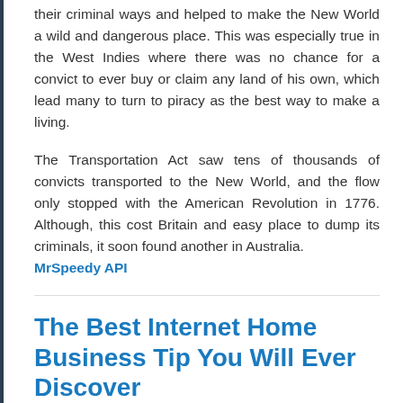their criminal ways and helped to make the New World a wild and dangerous place. This was especially true in the West Indies where there was no chance for a convict to ever buy or claim any land of his own, which lead many to turn to piracy as the best way to make a living.
The Transportation Act saw tens of thousands of convicts transported to the New World, and the flow only stopped with the American Revolution in 1776. Although, this cost Britain and easy place to dump its criminals, it soon found another in Australia. MrSpeedy API
The Best Internet Home Business Tip You Will Ever Discover
By Landon   May 2, 2020   Business